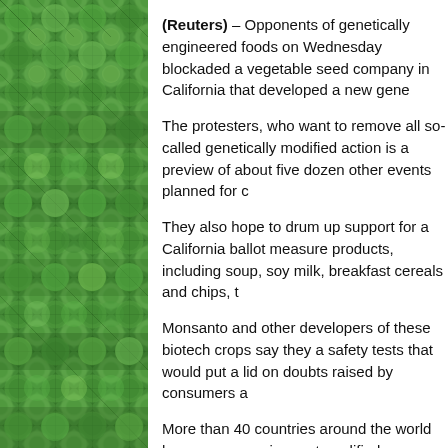[Figure (photo): Aerial photograph of crop fields showing a geometric pattern of round green crop circles and square fields in varying shades of green, viewed from above.]
(Reuters) – Opponents of genetically engineered foods on Wednesday blockaded a vegetable seed company in California that developed a new gene...
The protesters, who want to remove all so-called genetically mod... action is a preview of about five dozen other events planned for c...
They also hope to drum up support for a California ballot measure... products, including soup, soy milk, breakfast cereals and chips, t...
Monsanto and other developers of these biotech crops say they a... safety tests that would put a lid on doubts raised by consumers a...
More than 40 countries around the world have some requirement... modified crops. But U.S. regulators have rejected requests by ma... Americans do not know that they have been eating GMOs for yea...
At the protest on Wednesday, about a dozen people organized b... stopped trucks from entering or leaving Monsanto's Oxnard, Calif...
The activists, some dressed in biohazard suits, blocked truck entr...
Police arrested nine of the protesters and charged them with tres...